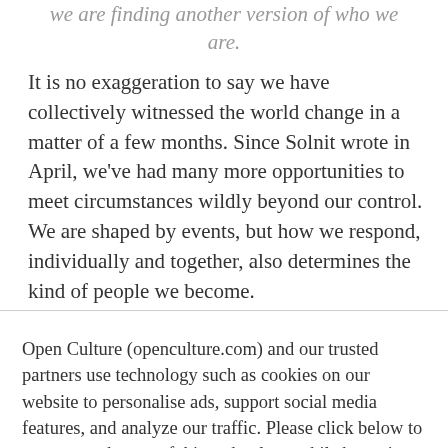we are finding another version of who we are.
It is no exaggeration to say we have collectively witnessed the world change in a matter of a few months. Since Solnit wrote in April, we've had many more opportunities to meet circumstances wildly beyond our control. We are shaped by events, but how we respond, individually and together, also determines the kind of people we become.
Open Culture (openculture.com) and our trusted partners use technology such as cookies on our website to personalise ads, support social media features, and analyze our traffic. Please click below to consent to the use of this technology while browsing our site.
Cookie settings   ACCEPT